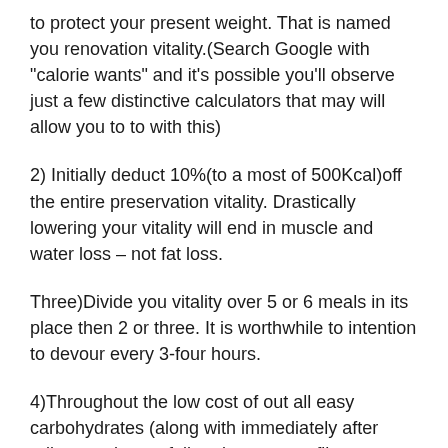to protect your present weight. That is named you renovation vitality.(Search Google with "calorie wants" and it's possible you'll observe just a few distinctive calculators that may will allow you to to with this)
2) Initially deduct 10%(to a most of 500Kcal)off the entire preservation vitality. Drastically lowering your vitality will end in muscle and water loss – not fat loss.
Three)Divide you vitality over 5 or 6 meals in its place then 2 or three. It is worthwhile to intention to devour every 3-four hours.
4)Throughout the low cost of out all easy carbohydrates (along with immediately after adjust to, devour full grain, extreme fibre substances.)
5)...